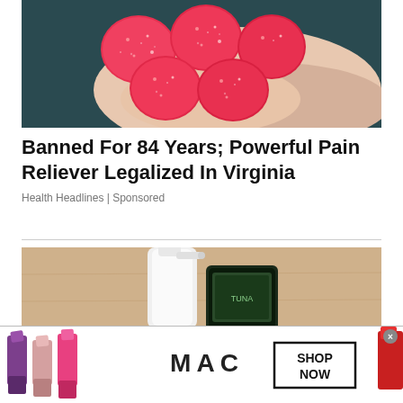[Figure (photo): A hand holding several red sugary gummy candies against a dark background]
Banned For 84 Years; Powerful Pain Reliever Legalized In Virginia
Health Headlines | Sponsored
[Figure (photo): A white lotion dispenser bottle next to a dark-colored device or phone on a wooden surface]
[Figure (photo): MAC cosmetics advertisement showing multiple lipsticks in purple, pink, and red shades with MAC logo and SHOP NOW button]